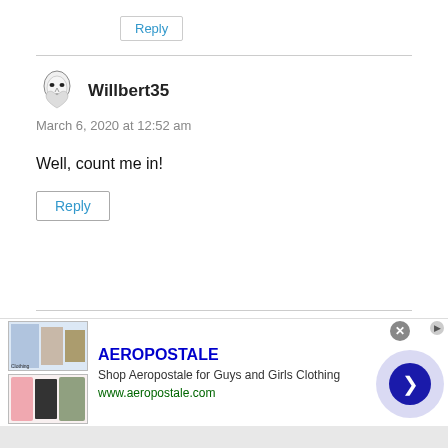Reply
Willbert35
March 6, 2020 at 12:52 am
Well, count me in!
Reply
paul stearns
March 6, 2020 at 12:56 am
[Figure (infographic): Advertisement banner for Aeropostale showing clothing images, brand name, tagline 'Shop Aeropostale for Guys and Girls Clothing', URL www.aeropostale.com, with navigation arrow circle on right]